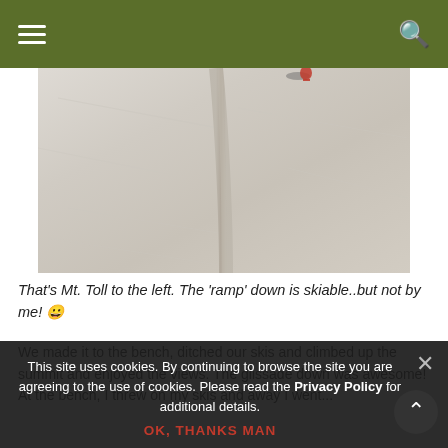Navigation bar with hamburger menu and search icon
[Figure (photo): Snowy mountain slope photo showing Mt. Toll area with a ski track/ramp running vertically down the center of the snow field. A small figure in red is visible near the top right.]
That's Mt. Toll to the left. The 'ramp' down is skiable..but not by me! 😁
We made it to the bench, ditched our skis and climbed up the summit and enjoyed the views. The glissade down was awesome! At the bench, I threw on my skis and away I went...
The snow conditions and the angle of the snow frankly made the skiing just a notch above my ability level..but it was a great place to practice with wide field (so I can do my Maalstrich-like turns!) and really enjoy...
This site uses cookies. By continuing to browse the site you are agreeing to the use of cookies. Please read the Privacy Policy for additional details.
OK, THANKS MAN